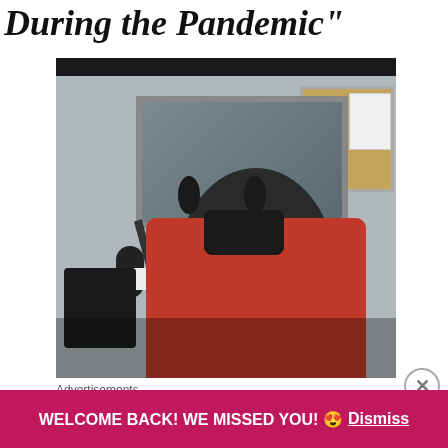During the Pandemic"
[Figure (photo): Woman wearing a black face mask and headphones sitting at a radio broadcast desk with a microphone in a radio studio. She is wearing a red cardigan. A glass window behind her shows another room with equipment.]
Advertisements
WELCOME BACK! WE MISSED YOU! 😍 Dismiss